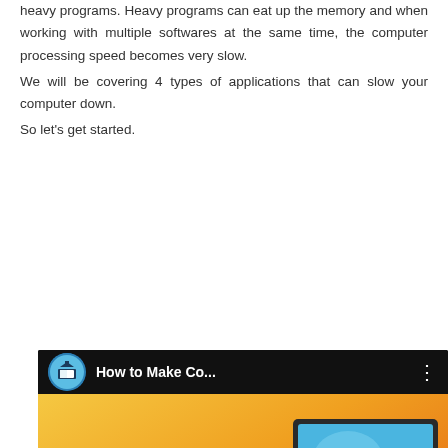heavy programs. Heavy programs can eat up the memory and when working with multiple softwares at the same time, the computer processing speed becomes very slow.
We will be covering 4 types of applications that can slow your computer down.
So let's get started.
[Figure (screenshot): YouTube video thumbnail showing 'How to Make Co...' with a computer illustration on a yellow-orange gradient background and a red play button. Bottom text shows 'OST PC'.]